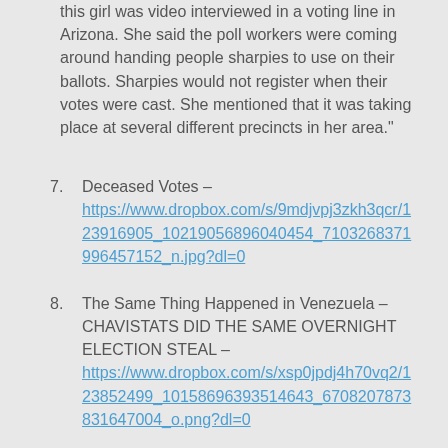this girl was video interviewed in a voting line in Arizona. She said the poll workers were coming around handing people sharpies to use on their ballots. Sharpies would not register when their votes were cast. She mentioned that it was taking place at several different precincts in her area."
7. Deceased Votes – https://www.dropbox.com/s/9mdjvpj3zkh3qcr/123916905_10219056896040454_7103268371996457152_n.jpg?dl=0
8. The Same Thing Happened in Venezuela – CHAVISTATS DID THE SAME OVERNIGHT ELECTION STEAL – https://www.dropbox.com/s/xsp0jpdj4h70vq2/123852499_10158696393514643_6708207873831647004_o.png?dl=0